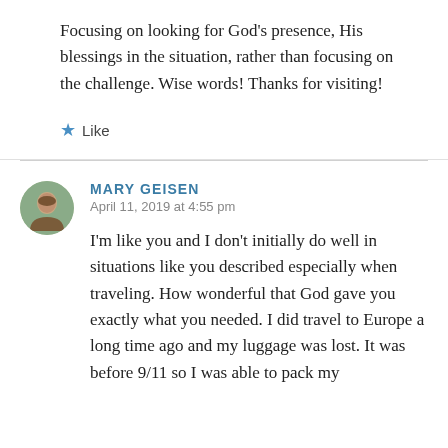Focusing on looking for God's presence, His blessings in the situation, rather than focusing on the challenge. Wise words! Thanks for visiting!
★ Like
MARY GEISEN
April 11, 2019 at 4:55 pm
I'm like you and I don't initially do well in situations like you described especially when traveling. How wonderful that God gave you exactly what you needed. I did travel to Europe a long time ago and my luggage was lost. It was before 9/11 so I was able to pack my